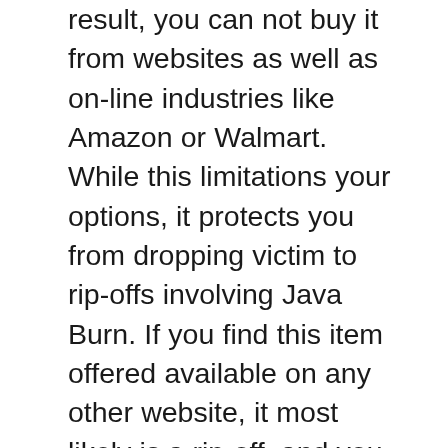result, you can not buy it from websites as well as on-line industries like Amazon or Walmart. While this limitations your options, it protects you from dropping victim to rip-offs involving Java Burn. If you find this item offered available on any other website, it most likely is a rip-off, and you ought to range from it.
Because you can only purchase from the supplier's web site, you can conserve a great deal of money by removing brokers, intermediaries, and intermediators. You can additionally ensure obtaining the actual offer when acquiring Java Burn straight from the manufacturer. It is available in three distinctive plans– the 30, 90, and also 180-day supply. Right here is a malfunction of the